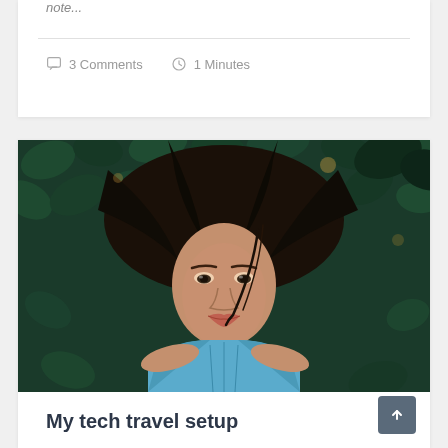note...
3 Comments   1 Minutes
[Figure (photo): A young woman with dark hair lying back on a bed of dark green leaves, wearing a light blue sleeveless top, looking up at the camera]
My tech travel setup